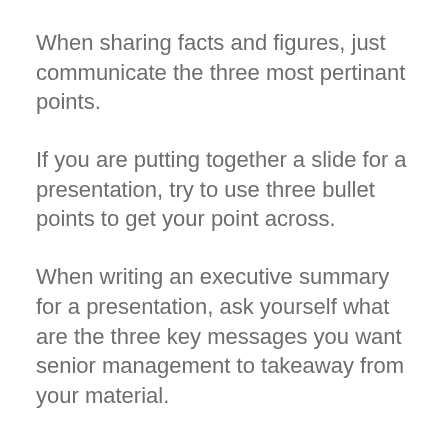When sharing facts and figures, just communicate the three most pertinant points.
If you are putting together a slide for a presentation, try to use three bullet points to get your point across.
When writing an executive summary for a presentation, ask yourself what are the three key messages you want senior management to takeaway from your material.